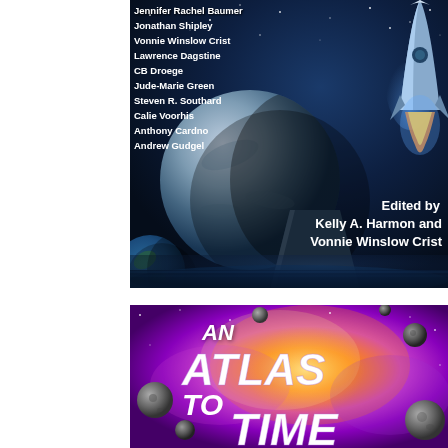[Figure (illustration): Top book cover showing a sci-fi scene with a rocket launching, a large moon/planet, a monolith-like structure over water, and a starry dark blue space background. Authors listed on the left: Jennifer Rachel Baumer, Jonathan Shipley, Vonnie Winslow Crist, Lawrence Dagstine, CB Droege, Jude-Marie Green, Steven R. Southard, Calie Voorhis, Anthony Cardno, Andrew Gudgel. Edited by Kelly A. Harmon and Vonnie Winslow Crist shown at bottom right.]
[Figure (illustration): Bottom book cover showing 'AN ATLAS TO TIME' title in large stylized white letters over a colorful nebula background of purples, magentas, and oranges with asteroids and space rocks.]